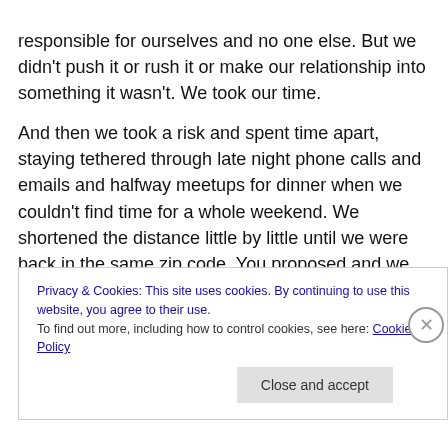responsible for ourselves and no one else. But we didn't push it or rush it or make our relationship into something it wasn't. We took our time.
And then we took a risk and spent time apart, staying tethered through late night phone calls and emails and halfway meetups for dinner when we couldn't find time for a whole weekend. We shortened the distance little by little until we were back in the same zip code. You proposed and we got married within the year. And even though I wanted to get married marginally earlier, marriage wasn't
Privacy & Cookies: This site uses cookies. By continuing to use this website, you agree to their use.
To find out more, including how to control cookies, see here: Cookie Policy
Close and accept